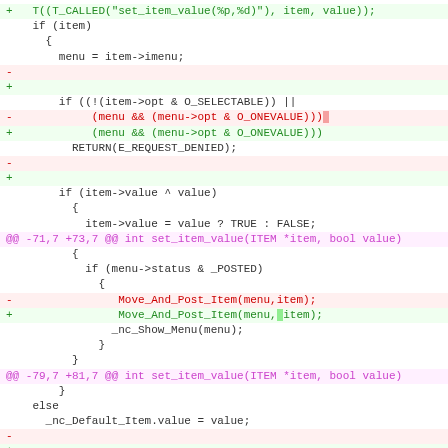[Figure (screenshot): Code diff view showing changes to a C function set_item_value, with added lines in green, removed lines in red, hunk headers in purple, and context lines in dark text on white background.]